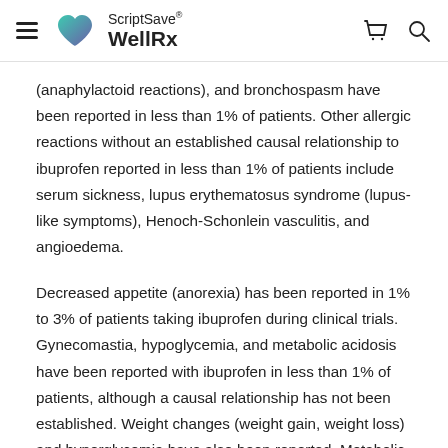ScriptSave® WellRx
(anaphylactoid reactions), and bronchospasm have been reported in less than 1% of patients. Other allergic reactions without an established causal relationship to ibuprofen reported in less than 1% of patients include serum sickness, lupus erythematosus syndrome (lupus-like symptoms), Henoch-Schonlein vasculitis, and angioedema.
Decreased appetite (anorexia) has been reported in 1% to 3% of patients taking ibuprofen during clinical trials. Gynecomastia, hypoglycemia, and metabolic acidosis have been reported with ibuprofen in less than 1% of patients, although a causal relationship has not been established. Weight changes (weight gain, weight loss) and hyperglycemia have also been reported. Metabolic abnormalities including hypokalemia (1.9% or less)